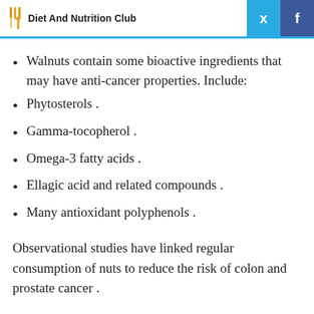Diet And Nutrition Club
Walnuts contain some bioactive ingredients that may have anti-cancer properties. Include:
Phytosterols .
Gamma-tocopherol .
Omega-3 fatty acids .
Ellagic acid and related compounds .
Many antioxidant polyphenols .
Observational studies have linked regular consumption of nuts to reduce the risk of colon and prostate cancer .